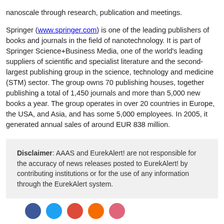nanoscale through research, publication and meetings. Springer (www.springer.com) is one of the leading publishers of books and journals in the field of nanotechnology. It is part of Springer Science+Business Media, one of the world's leading suppliers of scientific and specialist literature and the second-largest publishing group in the science, technology and medicine (STM) sector. The group owns 70 publishing houses, together publishing a total of 1,450 journals and more than 5,000 new books a year. The group operates in over 20 countries in Europe, the USA, and Asia, and has some 5,000 employees. In 2005, it generated annual sales of around EUR 838 million.
Disclaimer: AAAS and EurekAlert! are not responsible for the accuracy of news releases posted to EurekAlert! by contributing institutions or for the use of any information through the EurekAlert system.